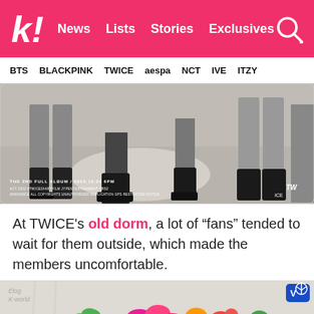k! News Lists Stories Exclusives
BTS BLACKPINK TWICE aespa NCT IVE ITZY
[Figure (photo): TWICE promotional photo showing members' lower bodies wearing black high-heeled boots and gray trousers, with text overlay: THE 2ND FULL ALBUM / 2020.10.26 6PM and TWICE logo]
At TWICE's old dorm, a lot of “fans” tended to wait for them outside, which made the members uncomfortable.
[Figure (photo): Colorful balloon decorations with text 'Elog K-world' and VLIVE badge in top right corner]